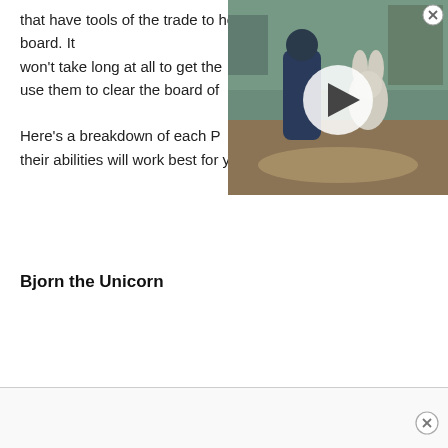that have tools of the trade to help you clear the board. It won't take long at all to get the use them to clear the board of Here's a breakdown of each P their abilities will work best for you.
[Figure (screenshot): A video thumbnail showing animated characters (a tall dark figure and a white rabbit-like character) in an indoor scene with a play button overlay and an X close button in the top right corner.]
Bjorn the Unicorn